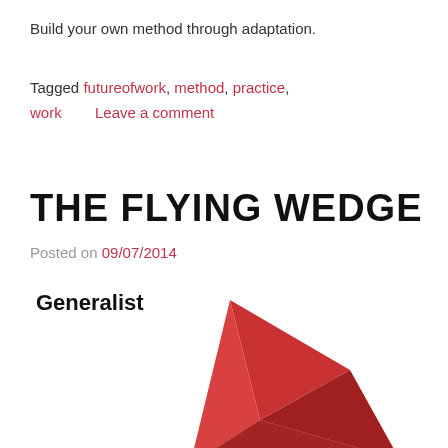Build your own method through adaptation.
Tagged futureofwork, method, practice, work    Leave a comment
THE FLYING WEDGE
Posted on 09/07/2014
Generalist
[Figure (illustration): A red 3D geometric wedge/kite shape rendered with facets in varying shades of red, pointing to the right, partially cropped at the bottom of the page.]